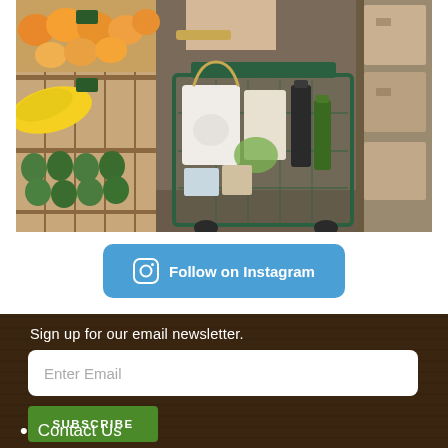[Figure (photo): Photo of a grocery store with a green shopping cart full of groceries including bags, bottles, and produce. Wooden crates with fruits and vegetables visible in the background.]
Follow on Instagram
Sign up for our email newsletter.
Enter Email
SUBSCRIBE
Contact Us